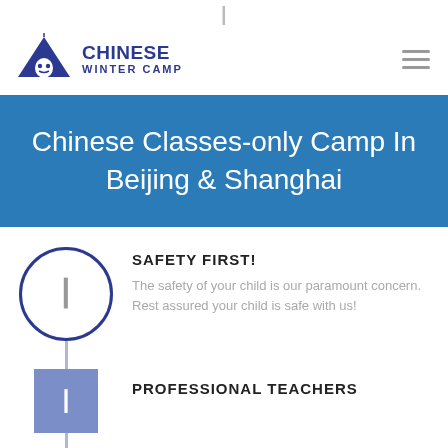[Figure (logo): Chinese Winter Camp logo with tent icon and text]
Chinese Classes-only Camp In Beijing & Shanghai
SAFETY FIRST!
The safety of your child is our paramount concern. Rest assured your child is safe with us!
PROFESSIONAL TEACHERS